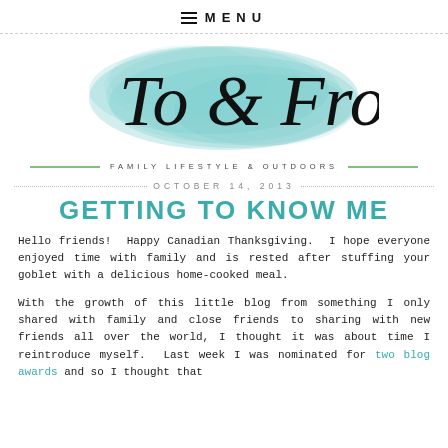≡ MENU
[Figure (logo): To & Fro blog logo with teal watercolor paint splash background and handwritten script text 'To & Fro']
FAMILY LIFESTYLE & OUTDOORS
OCTOBER 14, 2013
GETTING TO KNOW ME
Hello friends!  Happy Canadian Thanksgiving.  I hope everyone enjoyed time with family and is rested after stuffing your goblet with a delicious home-cooked meal.
With the growth of this little blog from something I only shared with family and close friends to sharing with new friends all over the world, I thought it was about time I reintroduce myself.  Last week I was nominated for two blog awards and so I thought that